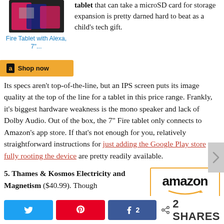[Figure (photo): Product image of Amazon Fire Tablet in multiple colors (pink, blue, black)]
Fire Tablet with Alexa, 7"...
[Figure (other): Amazon Shop now button with Amazon logo icon on gold/yellow background]
tablet that can take a microSD card for storage expansion is pretty darned hard to beat as a child's tech gift.
Its specs aren't top-of-the-line, but an IPS screen puts its image quality at the top of the line for a tablet in this price range. Frankly, it's biggest hardware weakness is the mono speaker and lack of Dolby Audio. Out of the box, the 7" Fire tablet only connects to Amazon's app store. If that's not enough for you, relatively straightforward instructions for just adding the Google Play store or fully rooting the device are pretty readily available.
5. Thames & Kosmos Electricity and Magnetism ($40.99). Though
[Figure (logo): Amazon logo in black text with orange arrow, inside an orange-bordered box]
[Figure (other): Social share buttons: Twitter, Pinterest, Facebook with count 2, and share count 2 SHARES]